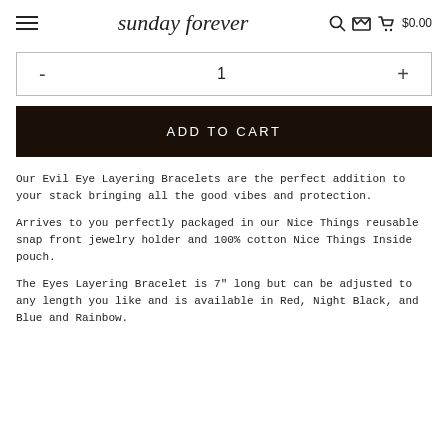sunday forever  🔍  🛒 $0.00
- 1 +
ADD TO CART
Our Evil Eye Layering Bracelets are the perfect addition to your stack bringing all the good vibes and protection.
Arrives to you perfectly packaged in our Nice Things reusable snap front jewelry holder and 100% cotton Nice Things Inside pouch.
The Eyes Layering Bracelet is 7" long but can be adjusted to any length you like and is available in Red, Night Black, and Blue and Rainbow.